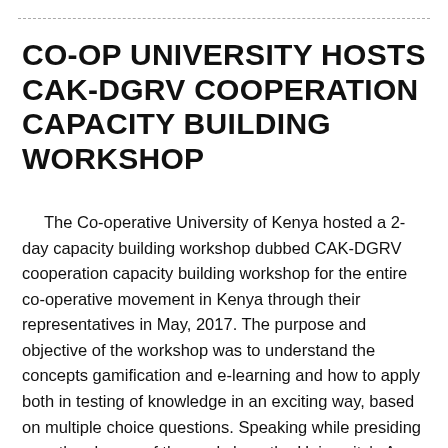CO-OP UNIVERSITY HOSTS CAK-DGRV COOPERATION CAPACITY BUILDING WORKSHOP
The Co-operative University of Kenya hosted a 2-day capacity building workshop dubbed CAK-DGRV cooperation capacity building workshop for the entire co-operative movement in Kenya through their representatives in May, 2017. The purpose and objective of the workshop was to understand the concepts gamification and e-learning and how to apply both in testing of knowledge in an exciting way, based on multiple choice questions. Speaking while presiding over the closure of the workshop, the University's Ag. Vice Chancellor Prof. Kamau Ngamau lauded